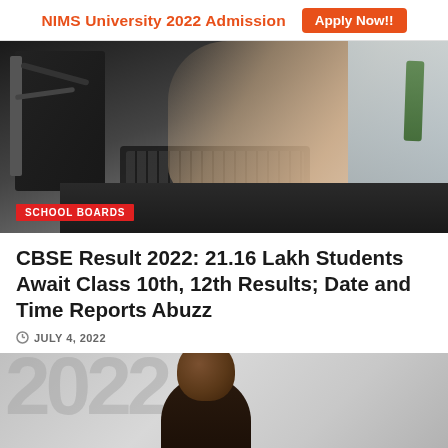NIMS University 2022 Admission   Apply Now!!
[Figure (photo): Students typing on keyboards in a computer lab, with a 'SCHOOL BOARDS' tag overlay at bottom left]
CBSE Result 2022: 21.16 Lakh Students Await Class 10th, 12th Results; Date and Time Reports Abuzz
JULY 4, 2022
[Figure (photo): A person looking upward with large '2022' text in the background]